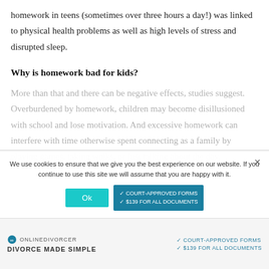homework in teens (sometimes over three hours a day!) was linked to physical health problems as well as high levels of stress and disrupted sleep.
Why is homework bad for kids?
More than that and there can be negative effects, studies suggest. Overburdened by homework, children may become disillusioned with school and lose motivation. And excessive homework can interfere with time otherwise spent connecting as a family by playing games, taking walks, or just talking about the day.
We use cookies to ensure that we give you the best experience on our website. If you continue to use this site we will assume that you are happy with it.
[Figure (screenshot): Cookie consent overlay with Ok button and court-approved forms advertisement. Below: OnlineDivorcer ad bar with 'DIVORCE MADE SIMPLE' text and checkmark bullets for court-approved forms and $139 for all documents.]